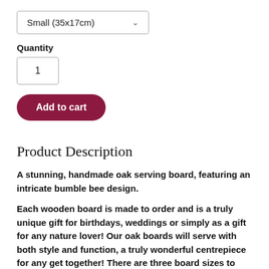Small (35x17cm)
Quantity
1
Add to cart
Product Description
A stunning, handmade oak serving board, featuring an intricate bumble bee design.
Each wooden board is made to order and is a truly unique gift for birthdays, weddings or simply as a gift for any nature lover! Our oak boards will serve with both style and function, a truly wonderful centrepiece for any get together! There are three board sizes to choose from; small (35x17cm), medium (40x17cm) and large (45x17cm).